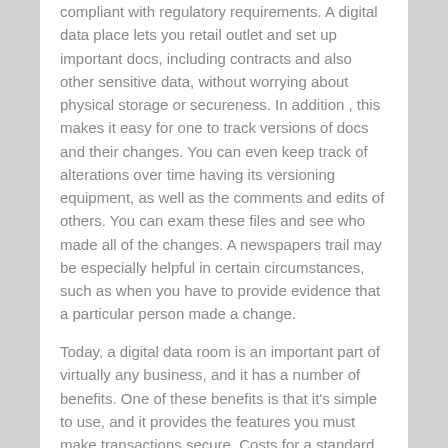compliant with regulatory requirements. A digital data place lets you retail outlet and set up important docs, including contracts and also other sensitive data, without worrying about physical storage or secureness. In addition , this makes it easy for one to track versions of docs and their changes. You can even keep track of alterations over time having its versioning equipment, as well as the comments and edits of others. You can exam these files and see who made all of the changes. A newspapers trail may be especially helpful in certain circumstances, such as when you have to provide evidence that a particular person made a change.
Today, a digital data room is an important part of virtually any business, and it has a number of benefits. One of these benefits is that it's simple to use, and it provides the features you must make transactions secure. Costs for a standard plan